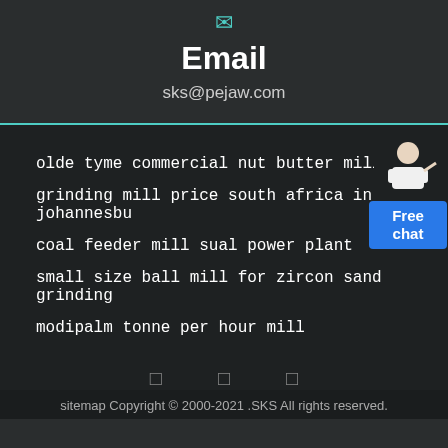[Figure (other): Teal envelope icon]
Email
sks@pejaw.com
olde tyme commercial nut butter mill
grinding mill price south africa in johannesbu
coal feeder mill sual power plant
small size ball mill for zircon sand grinding
modipalm tonne per hour mill
[Figure (other): Free chat widget with person figure and blue button]
[Figure (other): Social media icons row: three small square icons]
sitemap Copyright © 2000-2021 .SKS All rights reserved.